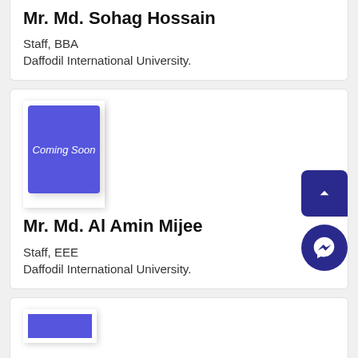Mr. Md. Sohag Hossain
Staff, BBA
Daffodil International University.
[Figure (photo): Coming Soon placeholder image (blue rectangle)]
Mr. Md. Al Amin Mijee
Staff, EEE
Daffodil International University.
[Figure (photo): Partial blue rectangle placeholder at bottom]